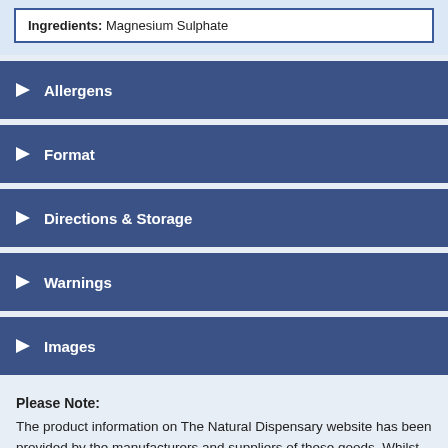Ingredients: Magnesium Sulphate
Allergens
Format
Directions & Storage
Warnings
Images
Please Note:
The product information on The Natural Dispensary website has been provided by the manufacturers and suppliers of these goods. Whilst we do our utmost to ensure that the content on the website is correct, we do rely on our suppliers to inform us of any product changes so that the website can be updated